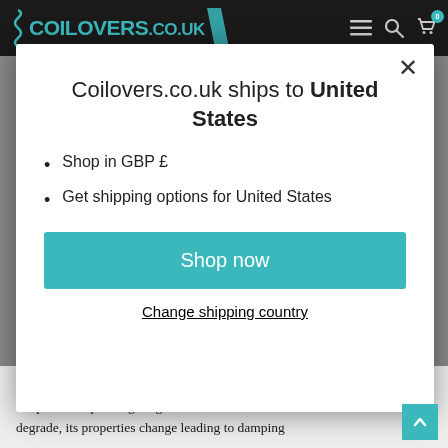COILOVERS.CO.UK
[Figure (screenshot): Modal dialog overlay on coilovers.co.uk website. White modal with close X button, title text, bullet list, shop now button, and change shipping country link. Background shows dark navigation bar with logo and grey page content.]
Coilovers.co.uk ships to United States
Shop in GBP £
Get shipping options for United States
Shop now
Change shipping country
that can maintain consistent viscosity under a wide temperature operating range. Once the oil start to degrade, its properties change leading to damping